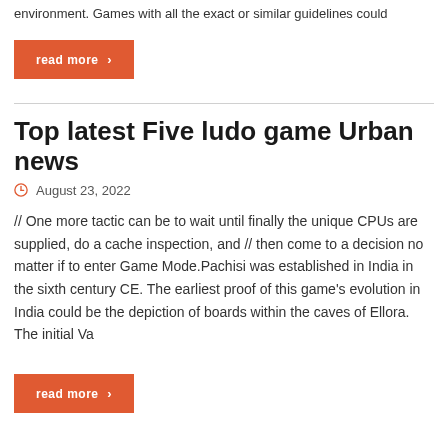environment. Games with all the exact or similar guidelines could
read more ›
Top latest Five ludo game Urban news
August 23, 2022
// One more tactic can be to wait until finally the unique CPUs are supplied, do a cache inspection, and // then come to a decision no matter if to enter Game Mode.Pachisi was established in India in the sixth century CE. The earliest proof of this game's evolution in India could be the depiction of boards within the caves of Ellora. The initial Va
read more ›